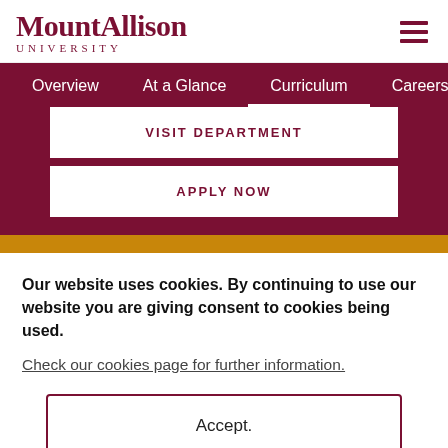[Figure (logo): Mount Allison University logo with text in dark red/maroon serif font]
Overview   At a Glance   Curriculum   Careers   Te
VISIT DEPARTMENT
APPLY NOW
Our website uses cookies. By continuing to use our website you are giving consent to cookies being used.
Check our cookies page for further information.
Accept.